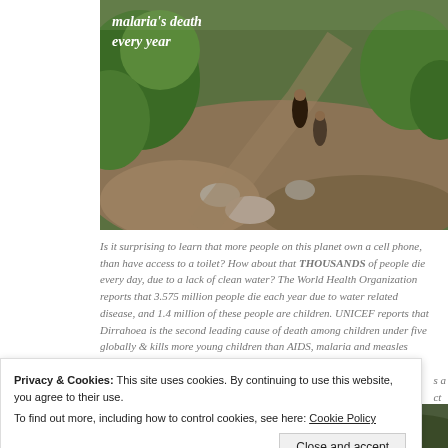[Figure (photo): Outdoor photo showing people on a rocky path amid green vegetation, with overlaid italic white text reading 'malaria's death every year']
Is it surprising to learn that more people on this planet own a cell phone, than have access to a toilet? How about that THOUSANDS of people die every day, due to a lack of clean water? The World Health Organization reports that 3.575 million people die each year due to water related disease, and 1.4 million of these people are children. UNICEF reports that Dirrahoea is the second leading cause of death among children under five globally & kills more young children than AIDS, malaria and measles combined. Dirrahoea is largely due to lack of safe drinking water, sanitation & hygiene. Children in poor environments who lack
Privacy & Cookies: This site uses cookies. By continuing to use this website, you agree to their use.
To find out more, including how to control cookies, see here: Cookie Policy
[Figure (photo): Partial bottom photo, dark green tones]